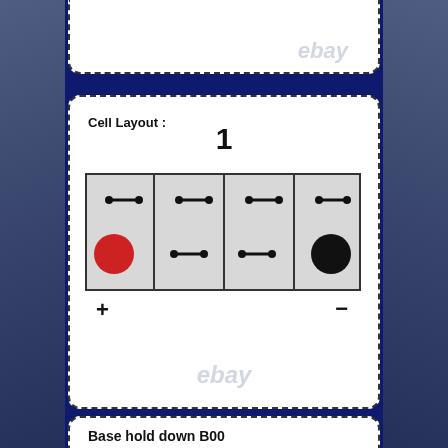[Figure (schematic): Battery cell layout diagram showing 4 cells in series with positive (red) terminal on left and negative (black) terminal on right, labeled with + and -. Number '1' above indicates cell layout configuration.]
Cell Layout :
1
+
−
Base hold down B00
[Figure (schematic): Base hold down bracket diagram showing a curved/wavy bracket component (B00)]